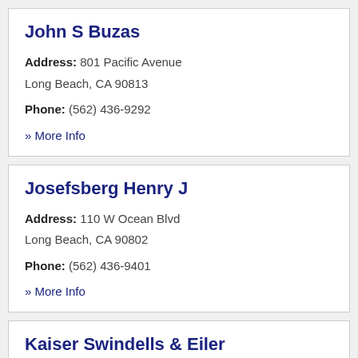John S Buzas
Address: 801 Pacific Avenue
Long Beach, CA 90813
Phone: (562) 436-9292
» More Info
Josefsberg Henry J
Address: 110 W Ocean Blvd
Long Beach, CA 90802
Phone: (562) 436-9401
» More Info
Kaiser Swindells & Eiler
Address: 3949 E Broad...